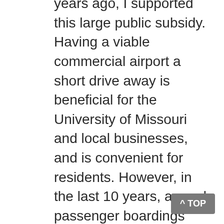years ago, I supported this large public subsidy. Having a viable commercial airport a short drive away is beneficial for the University of Missouri and local businesses, and is convenient for residents. However, in the last 10 years, annual passenger boardings have increased ten-fold and there are now 16 departures and arrivals every day. In addition to $3 million annually in transportation sales tax revenues, the airport receives $700,000 from the lodging tax increase passed by voters in 2017. It is also in line for federal grants totaling tens of millions of dollars within the next few years, for construction of a new terminal.
Contrast the improved financial condition of the airport with the dire situation of spending...